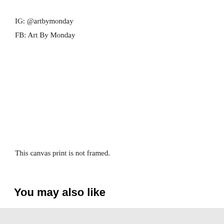IG:  @artbymonday
FB:  Art By Monday
This canvas print is not framed.
You may also like